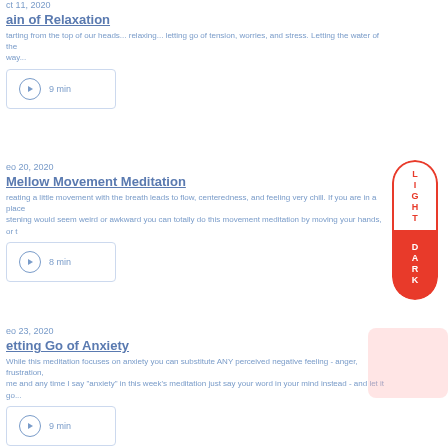ct 11, 2020
ain of Relaxation
tarting from the top of our heads... relaxing... letting go of tension, worries, and stress. Letting the water of the way...
9 min
eo 20, 2020
Mellow Movement Meditation
reating a little movement with the breath leads to flow, centeredness, and feeling very chill. If you are in a place listening would seem weird or awkward you can totally do this movement meditation by moving your hands, or t
8 min
eo 23, 2020
etting Go of Anxiety
While this meditation focuses on anxiety you can substitute ANY perceived negative feeling - anger, frustration, me and any time I say "anxiety" in this week's meditation just say your word in your mind instead - and let it go...
9 min